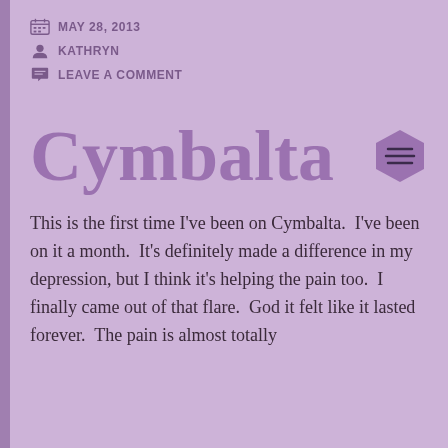MAY 28, 2013
KATHRYN
LEAVE A COMMENT
Cymbalta
This is the first time I've been on Cymbalta.  I've been on it a month.  It's definitely made a difference in my depression, but I think it's helping the pain too.  I finally came out of that flare.  God it felt like it lasted forever.  The pain is almost totally